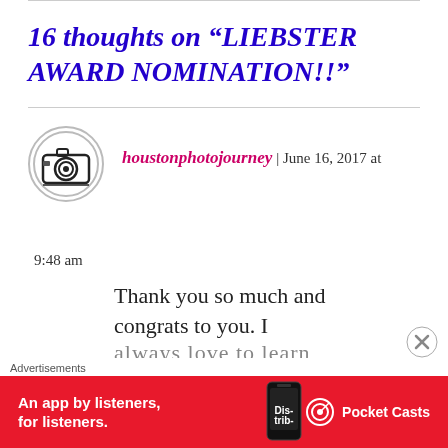16 thoughts on “LIEBSTER AWARD NOMINATION!!”
[Figure (illustration): Circular avatar icon with a camera graphic, black and white, on a white background with grey border]
houstonphotojourney | June 16, 2017 at 9:48 am
Thank you so much and congrats to you. I always love to learn...
Advertisements
[Figure (screenshot): Pocket Casts advertisement banner: red background with white text 'An app by listeners, for listeners.' with a phone image and Pocket Casts logo]